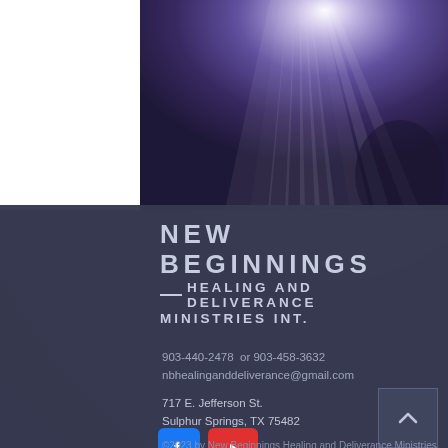[Figure (photo): Dark purple/violet background with light rays radiating from top center, dramatic spiritual atmosphere]
NEW BEGINNINGS HEALING AND DELIVERANCE MINISTRIES INT.
903-440-2478  or 903-458-3632
nbhealinganddeliverance@gmail.com
717 E. Jefferson St.
Sulphur Springs, TX 75482
[Figure (logo): Facebook logo icon - white F on blue background]
[Figure (logo): YouTube logo icon - white play button on red background]
©2023 by New Beginnings Healing and Deliverance Ministries